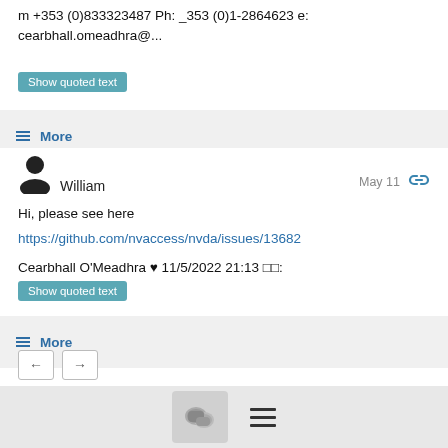m +353 (0)833323487 Ph: _353 (0)1-2864623 e: cearbhall.omeadhra@...
Show quoted text
≡ More
William   May 11
Hi, please see here
https://github.com/nvaccess/nvda/issues/13682
Cearbhall O'Meadhra ￼ 11/5/2022 21:13 ￼￼:
Show quoted text
≡ More